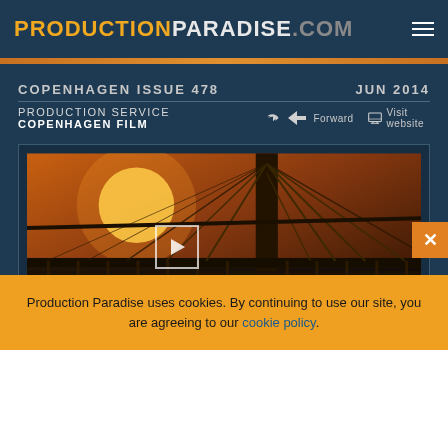PRODUCTIONPARADISE.COM
COPENHAGEN ISSUE 478   JUN 2014
PRODUCTION SERVICE COPENHAGEN FILM
Forward   Visit website
[Figure (photo): Video thumbnail of a cable-stayed bridge at sunset with a play button overlay, viewed from below the cable structure with warm golden light reflecting on water]
Production Paradise uses cookies. By continuing to use our site, you are agreeing to our cookie policy.